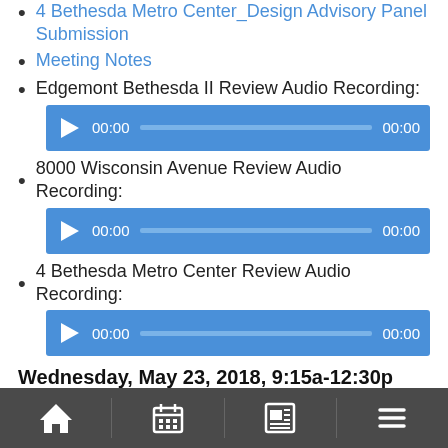4 Bethesda Metro Center_Design Advisory Panel Submission
Meeting Notes
Edgemont Bethesda II Review Audio Recording:
[Figure (other): Audio player widget showing 00:00 time and progress bar]
8000 Wisconsin Avenue Review Audio Recording:
[Figure (other): Audio player widget showing 00:00 time and progress bar]
4 Bethesda Metro Center Review Audio Recording:
[Figure (other): Audio player widget showing 00:00 time and progress bar]
Wednesday, May 23, 2018, 9:15a-12:30p
Agenda
Navigation bar with home, calendar, news, and menu icons